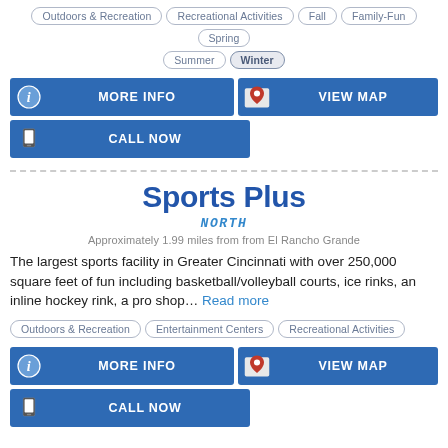Outdoors & Recreation | Recreational Activities | Fall | Family-Fun | Spring | Summer | Winter
MORE INFO | VIEW MAP | CALL NOW
Sports Plus
NORTH
Approximately 1.99 miles from from El Rancho Grande
The largest sports facility in Greater Cincinnati with over 250,000 square feet of fun including basketball/volleyball courts, ice rinks, an inline hockey rink, a pro shop... Read more
Outdoors & Recreation | Entertainment Centers | Recreational Activities
MORE INFO | VIEW MAP | CALL NOW